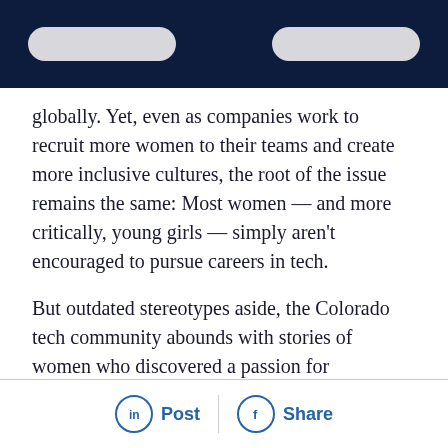globally. Yet, even as companies work to recruit more women to their teams and create more inclusive cultures, the root of the issue remains the same: Most women — and more critically, young girls — simply aren't encouraged to pursue careers in tech.
But outdated stereotypes aside, the Colorado tech community abounds with stories of women who discovered a passion for technology early on and turned that passion into a thriving career — despite the roadblocks they met along the way. Today,
Post  Share